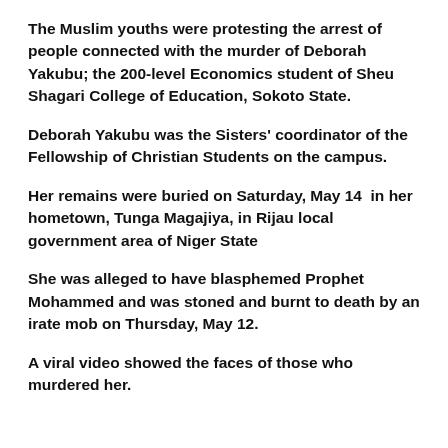The Muslim youths were protesting the arrest of people connected with the murder of Deborah Yakubu; the 200-level Economics student of Sheu Shagari College of Education, Sokoto State.
Deborah Yakubu was the Sisters' coordinator of the Fellowship of Christian Students on the campus.
Her remains were buried on Saturday, May 14  in her hometown, Tunga Magajiya, in Rijau local government area of Niger State
She was alleged to have blasphemed Prophet Mohammed and was stoned and burnt to death by an irate mob on Thursday, May 12.
A viral video showed the faces of those who murdered her.